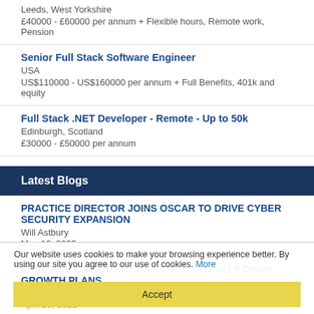Leeds, West Yorkshire
£40000 - £60000 per annum + Flexible hours, Remote work, Pension
Senior Full Stack Software Engineer
USA
US$110000 - US$160000 per annum + Full Benefits, 401k and equity
Full Stack .NET Developer - Remote - Up to 50k
Edinburgh, Scotland
£30000 - £50000 per annum
Latest Blogs
PRACTICE DIRECTOR JOINS OSCAR TO DRIVE CYBER SECURITY EXPANSION
Will Astbury
May 16, 2022
PRACTICE DIRECTOR JOINS OSCAR TO HELP DRIVE GROWTH PLANS
Joe Muschamp
April 29, 2022
Do IT Contractors care about company culture?
Leilani Janchote
December 14, 2021
Our website uses cookies to make your browsing experience better. By using our site you agree to our use of cookies. More
Accept